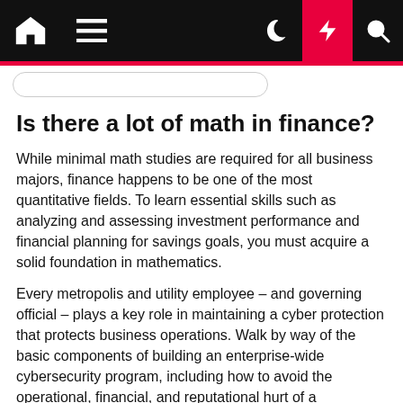Navigation bar with home, menu, moon, bolt, and search icons
Is there a lot of math in finance?
While minimal math studies are required for all business majors, finance happens to be one of the most quantitative fields. To learn essential skills such as analyzing and assessing investment performance and financial planning for savings goals, you must acquire a solid foundation in mathematics.
Every metropolis and utility employee – and governing official – plays a key role in maintaining a cyber protection that protects business operations. Walk by way of the basic components of building an enterprise-wide cybersecurity program, including how to avoid the operational, financial, and reputational hurt of a debilitating attack. Lively, fast-